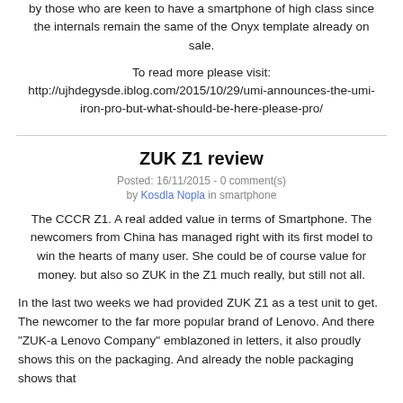by those who are keen to have a smartphone of high class since the internals remain the same of the Onyx template already on sale.
To read more please visit: http://ujhdegysde.iblog.com/2015/10/29/umi-announces-the-umi-iron-pro-but-what-should-be-here-please-pro/
ZUK Z1 review
Posted: 16/11/2015 - 0 comment(s)
by Kosdla Nopla in smartphone
The CCCR Z1. A real added value in terms of Smartphone. The newcomers from China has managed right with its first model to win the hearts of many user. She could be of course value for money. but also so ZUK in the Z1 much really, but still not all.
In the last two weeks we had provided ZUK Z1 as a test unit to get. The newcomer to the far more popular brand of Lenovo. And there "ZUK-a Lenovo Company" emblazoned in letters, it also proudly shows this on the packaging. And already the noble packaging shows that